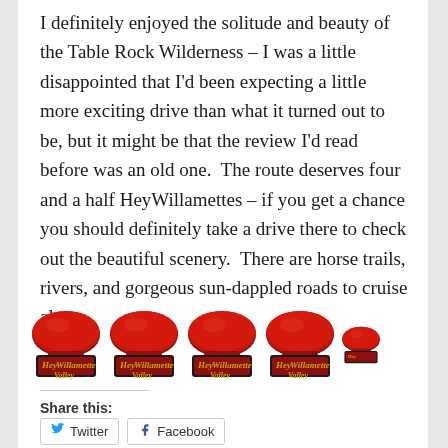I definitely enjoyed the solitude and beauty of the Table Rock Wilderness – I was a little disappointed that I'd been expecting a little more exciting drive than what it turned out to be, but it might be that the review I'd read before was an old one.  The route deserves four and a half HeyWillamettes – if you get a chance you should definitely take a drive there to check out the beautiful scenery.  There are horse trails, rivers, and gorgeous sun-dappled roads to cruise along.
[Figure (illustration): Five 'Hey Willamette Valley' badge/logo icons in a row, four complete and one partial (cut off on right). Red mushroom-shaped badge with cursive text 'Hey Willamette Valley'.]
Share this: